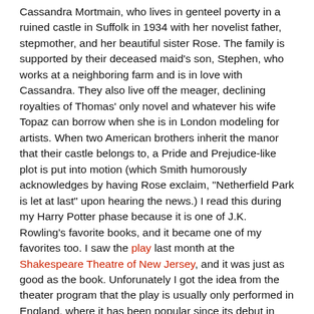Cassandra Mortmain, who lives in genteel poverty in a ruined castle in Suffolk in 1934 with her novelist father, stepmother, and her beautiful sister Rose. The family is supported by their deceased maid's son, Stephen, who works at a neighboring farm and is in love with Cassandra. They also live off the meager, declining royalties of Thomas' only novel and whatever his wife Topaz can borrow when she is in London modeling for artists. When two American brothers inherit the manor that their castle belongs to, a Pride and Prejudice-like plot is put into motion (which Smith humorously acknowledges by having Rose exclaim, "Netherfield Park is let at last" upon hearing the news.) I read this during my Harry Potter phase because it is one of J.K. Rowling's favorite books, and it became one of my favorites too. I saw the play last month at the Shakespeare Theatre of New Jersey, and it was just as good as the book. Unforunately I got the idea from the theater program that the play is usually only performed in England, where it has been popular since its debut in 1954.
If you loved Rebecca by Daphne du Maurier, it is the same type of romantic English tale, except Cassandra is a more